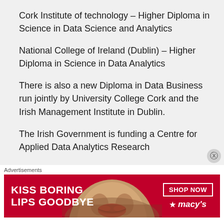Cork Institute of technology – Higher Diploma in Science in Data Science and Analytics
National College of Ireland (Dublin) – Higher Diploma in Science in Data Analytics
There is also a new Diploma in Data Business run jointly by University College Cork and the Irish Management Institute in Dublin.
The Irish Government is funding a Centre for Applied Data Analytics Research
Advertisements
[Figure (infographic): Advertisement banner for Macy's with red background, text 'KISS BORING LIPS GOODBYE', a woman's face, 'SHOP NOW' button and Macy's star logo]